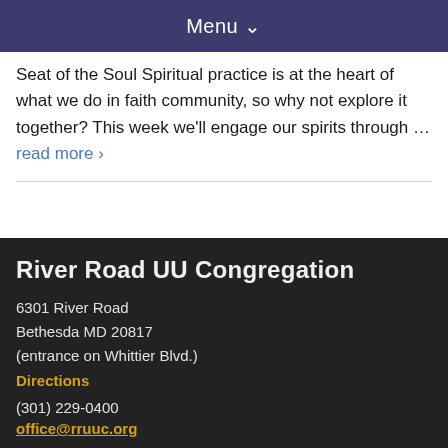Menu ›
Seat of the Soul Spiritual practice is at the heart of what we do in faith community, so why not explore it together? This week we'll engage our spirits through … read more ›
River Road UU Congregation
6301 River Road
Bethesda MD 20817
(entrance on Whittier Blvd.)
Directions
(301) 229-0400
office@rruuc.org